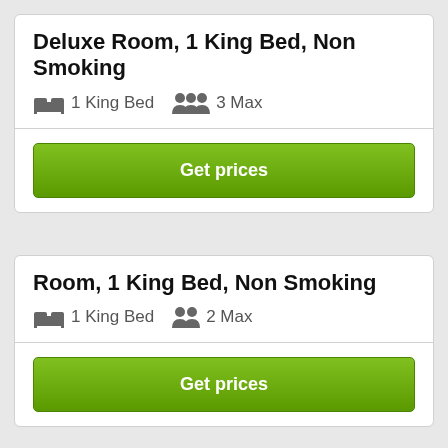Deluxe Room, 1 King Bed, Non Smoking
1 King Bed  3 Max
Get prices
Room, 1 King Bed, Non Smoking
1 King Bed  2 Max
Get prices
Wingate by Wyndham - Columbia ratings based on 26 Verified Reviews